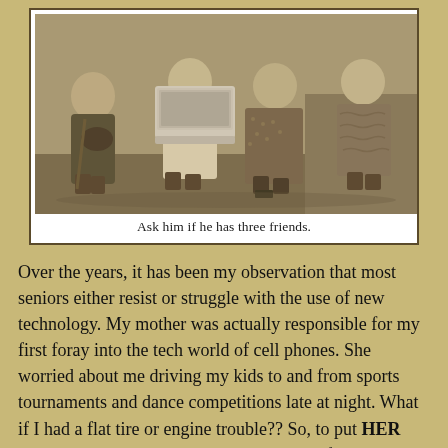[Figure (photo): Vintage sepia-toned black and white photo of four elderly women sitting together on a bench outdoors. One woman in the center is holding an open white laptop computer on her lap. The women are dressed in old-fashioned clothes and shoes.]
Ask him if he has three friends.
Over the years, it has been my observation that most seniors either resist or struggle with the use of new technology. My mother was actually responsible for my first foray into the tech world of cell phones. She worried about me driving my kids to and from sports tournaments and dance competitions late at night. What if I had a flat tire or engine trouble?? So, to put HER mind at ease, she gave me a mobile phone for Christmas one year. It looked something like this. It was